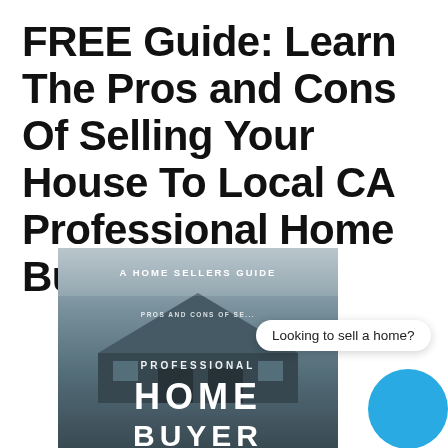FREE Guide: Learn The Pros and Cons Of Selling Your House To Local CA Professional Home Buyer
[Figure (illustration): Book cover for a home sellers guide titled 'Professional Home Buyer' showing a house photo background with text overlays, alongside a chat bubble saying 'Looking to sell a home?' and a blue circle icon]